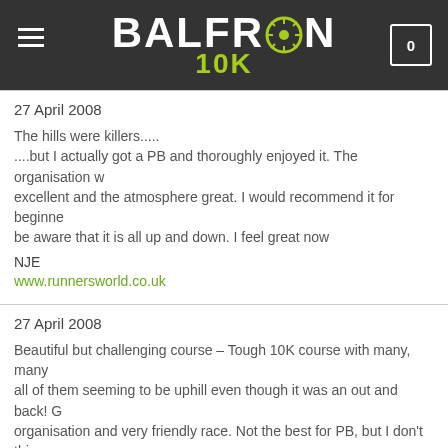BALFRON 10K
27 April 2008

The hills were killers.....
....but I actually got a PB and thoroughly enjoyed it. The organisation was excellent and the atmosphere great. I would recommend it for beginners but be aware that it is all up and down. I feel great now

NJE
www.runnersworld.co.uk
27 April 2008

Beautiful but challenging course – Tough 10K course with many, many hills, all of them seeming to be uphill even though it was an out and back! Great organisation and very friendly race. Not the best for PB, but I don't think that's what this race is about. If you want spectacular scenery, friendly support and an abundance of fresh orange wedges (and chocolate cake) at the finish, then this is for you. Will definitely be back next year!

CarrieD
www.runnersworld.co.uk